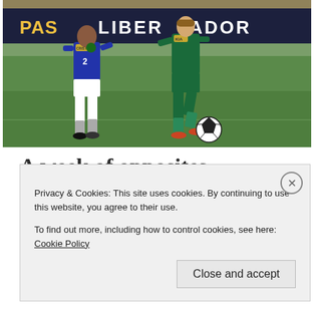[Figure (photo): Two soccer players on a green pitch during a Copa Libertadores match. One player wears a blue kit with Cristal sponsor, the other wears a green kit with KIA sponsor. A banner in the background reads 'LIBERTADORES'.]
A week of opposites
The week that started off with a bang in Boston also brought about sadness in São Paulo as a
Privacy & Cookies: This site uses cookies. By continuing to use this website, you agree to their use.
To find out more, including how to control cookies, see here: Cookie Policy
Close and accept